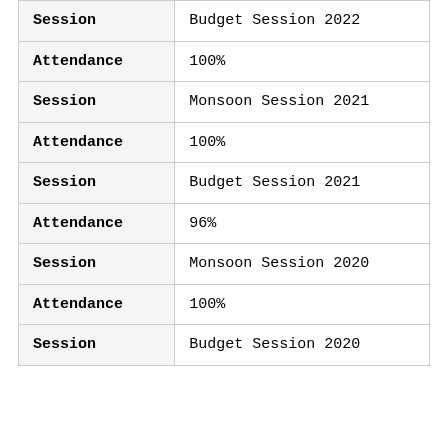| Field | Value |
| --- | --- |
| Session | Budget Session 2022 |
| Attendance | 100% |
| Session | Monsoon Session 2021 |
| Attendance | 100% |
| Session | Budget Session 2021 |
| Attendance | 96% |
| Session | Monsoon Session 2020 |
| Attendance | 100% |
| Session | Budget Session 2020 |